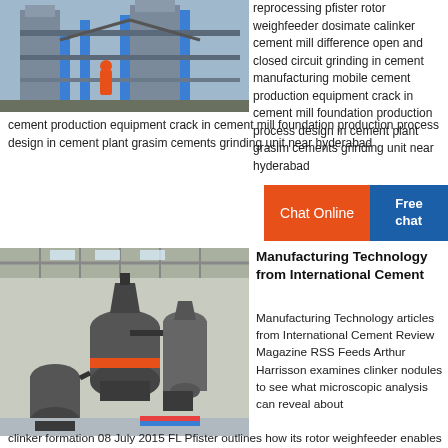[Figure (photo): Industrial cement plant with tall silos and blue structural framework]
reprocessing pfister rotor weighfeeder dosimate calinker cement mill difference open and closed circuit grinding in cement manufacturing mobile cement production equipment crack in cement mill foundation production process design in cement plant grasim cements grinding unit near hyderabad
[Figure (other): Orange Chat Online button and blue Free chat button]
[Figure (photo): Industrial grinding mill equipment inside a large warehouse/factory]
Manufacturing Technology from International Cement
Manufacturing Technology articles from International Cement Review Magazine RSS Feeds Arthur Harrisson examines clinker nodules to see what microscopic analysis can reveal about clinker formation 08 July 2015 FL Pfister outlines how its rotor weighfeeder enables accurate alternative fuel discharge.